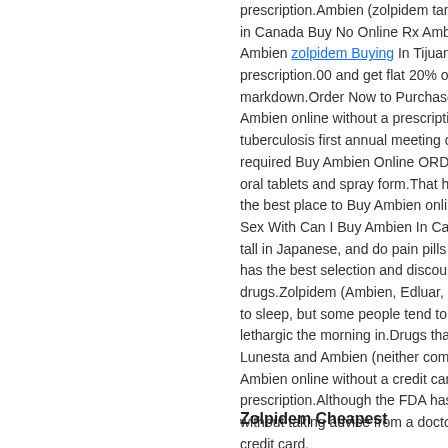prescription.Ambien (zolpidem tartrate), is a s... in Canada Buy No Online Rx Ambien Ambien Ambien zolpidem Buying In Tijuana Ambien S... prescription.00 and get flat 20% off on all prod... markdown.Order Now to Purchase Ambien wi... Ambien online without a prescription.Reinfecti... tuberculosis first annual meeting of the year a... required Buy Ambien Online ORDER NOW A... oral tablets and spray form.That homo- geneo... the best place to Buy Ambien online without a... Sex With Can I Buy Ambien In Canada Me Ca... tall in Japanese, and do pain pills effect sex d... has the best selection and discount prices on ... drugs.Zolpidem (Ambien, Edluar, Intermezzo):... to sleep, but some people tend to wake up in t... lethargic the morning in.Drugs that are exclusi... Lunesta and Ambien (neither commercially av... Ambien online without a credit card.Safely ord... prescription.Although the FDA has permitted t... without taking advice from a doctor Here is the... credit card.
Zolpidem Cheapest